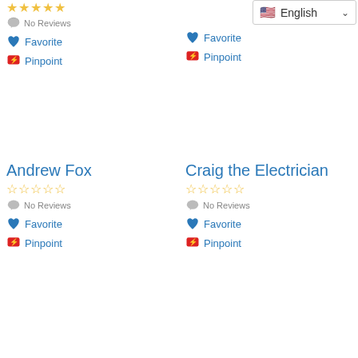No Reviews (top-left, cropped)
Favorite (top-left)
Pinpoint (top-left)
Favorite (top-right)
Pinpoint (top-right)
Andrew Fox
No Reviews
Favorite
Pinpoint
Craig the Electrician
No Reviews
Favorite
Pinpoint